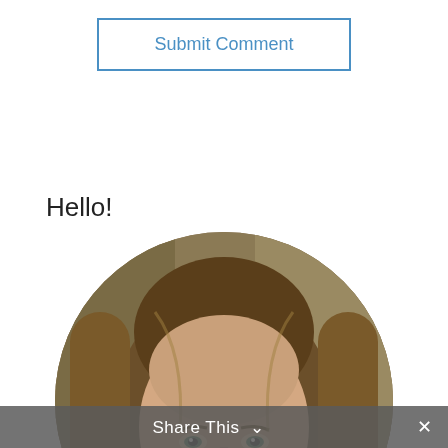Submit Comment
Hello!
[Figure (photo): Circular cropped portrait photo of a woman with long brown/blonde hair, looking slightly upward toward the camera, smiling subtly. Background is a warm brownish-tan interior wall.]
Share This ∨  ✕